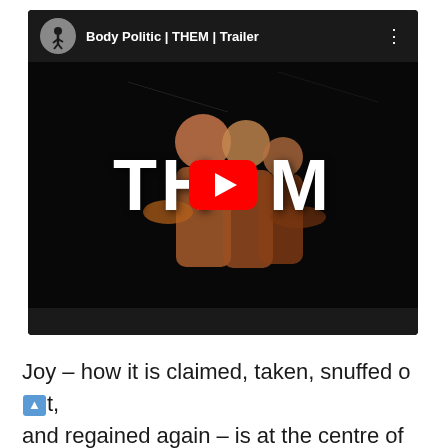[Figure (screenshot): YouTube video thumbnail for 'Body Politic | THEM | Trailer' showing dancers embracing on a dark stage with the word THEM overlaid and a YouTube play button in the center. Channel avatar shows a dancer silhouette.]
Joy – how it is claimed, taken, snuffed out, and regained again – is at the centre of